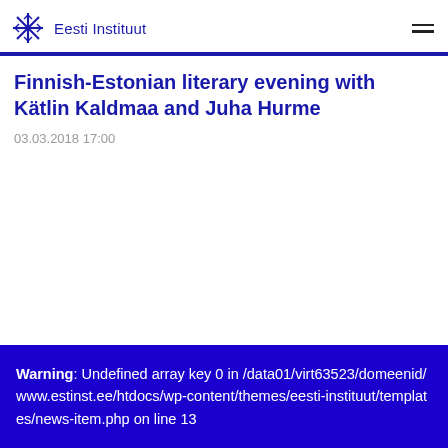Eesti Instituut
Finnish-Estonian literary evening with Kätlin Kaldmaa and Juha Hurme
03.03.2018 17:00
Warning: Undefined array key 0 in /data01/virt63523/domeenid/www.estinst.ee/htdocs/wp-content/themes/eesti-instituut/templates/news-item.php on line 13